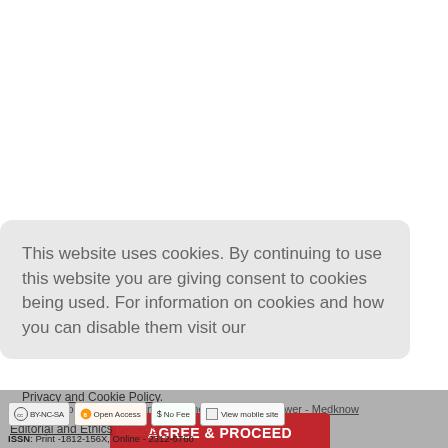This website uses cookies. By continuing to use this website you are giving consent to cookies being used. For information on cookies and how you can disable them visit our
Privacy and Cookie Policy.
© Medical Journal of Babylon | Published by Wolters Kluwer - Medknow
AGREE & PROCEED
Editorial and Ethics Policies
ISSN: Print -1812-156X, Online - 2312-6760